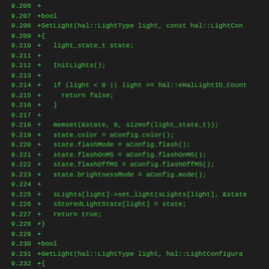[Figure (screenshot): Code diff screenshot showing lines 9.206–9.237 of a C++ source file implementing SetLight and GetLight functions for HAL lighting control, displayed with green monospace text on dark background.]